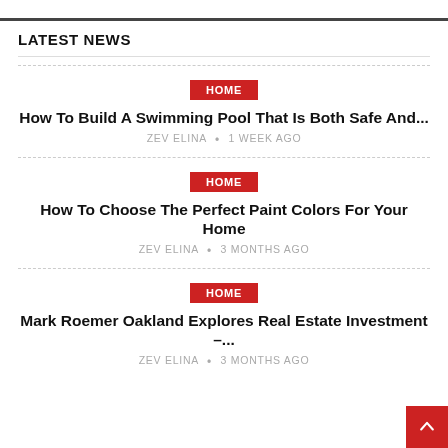LATEST NEWS
HOME | How To Build A Swimming Pool That Is Both Safe And... | ZEV ELINA • 1 week ago
HOME | How To Choose The Perfect Paint Colors For Your Home | ZEV ELINA • 3 months ago
HOME | Mark Roemer Oakland Explores Real Estate Investment –... | ZEV ELINA • 3 months ago